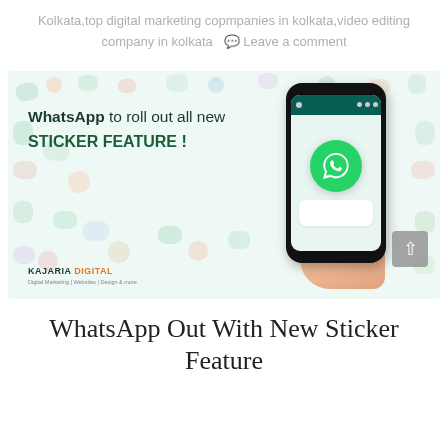Kolkata,top digital marketing copmpanies in kolkata,video editing company in kolkata   Leave a comment
[Figure (illustration): WhatsApp sticker feature promotional banner showing text 'WhatsApp to roll out all new STICKER FEATURE !' alongside a phone mockup with WhatsApp logo, and Kajaria Digital branding, on a background with cute cartoon sticker characters]
WhatsApp Out With New Sticker Feature